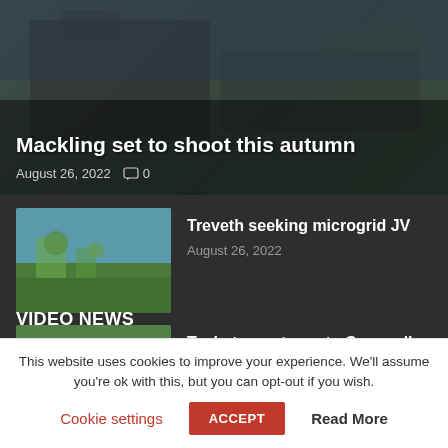[Figure (photo): Hero image of a building/industrial facility in autumn setting]
Mackling set to shoot this autumn
August 26, 2022   0
[Figure (photo): Aerial or garden view photo thumbnail for Treveth article]
Treveth seeking microgrid JV
August 26, 2022
[Figure (photo): Group of people outdoors photo thumbnail for Techstars article]
Techstars returns to Cornwall
August 25, 2022
VIDEO NEWS
This website uses cookies to improve your experience. We'll assume you're ok with this, but you can opt-out if you wish.
Cookie settings   ACCEPT   Read More